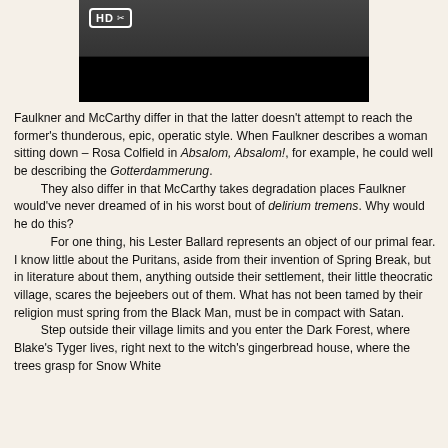[Figure (photo): A screenshot of a video player showing a person holding something, with an HD badge in the top-left corner and a black control bar at the bottom.]
Faulkner and McCarthy differ in that the latter doesn't attempt to reach the former's thunderous, epic, operatic style. When Faulkner describes a woman sitting down – Rosa Colfield in Absalom, Absalom!, for example, he could well be describing the Gotterdammerung.
	They also differ in that McCarthy takes degradation places Faulkner would've never dreamed of in his worst bout of delirium tremens. Why would he do this?
	For one thing, his Lester Ballard represents an object of our primal fear. I know little about the Puritans, aside from their invention of Spring Break, but in literature about them, anything outside their settlement, their little theocratic village, scares the bejeebers out of them. What has not been tamed by their religion must spring from the Black Man, must be in compact with Satan.
	Step outside their village limits and you enter the Dark Forest, where Blake's Tyger lives, right next to the witch's gingerbread house, where the trees grasp for Snow White